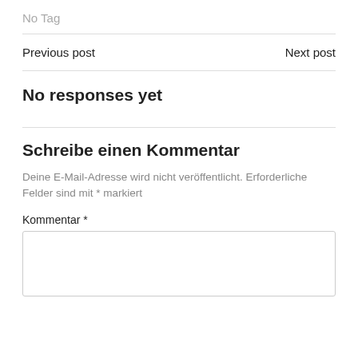No Tag
Previous post
Next post
No responses yet
Schreibe einen Kommentar
Deine E-Mail-Adresse wird nicht veröffentlicht. Erforderliche Felder sind mit * markiert
Kommentar *